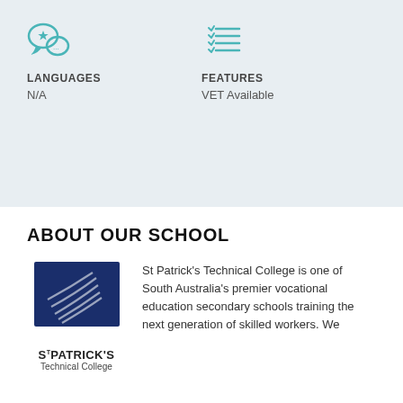[Figure (illustration): Teal icon of speech bubbles with a star, representing languages]
[Figure (illustration): Teal icon of a checklist/features list]
LANGUAGES
N/A
FEATURES
VET Available
ABOUT OUR SCHOOL
[Figure (logo): St Patrick's Technical College logo — dark blue square with stylised S shape, text below reads ST PATRICK'S Technical College]
St Patrick's Technical College is one of South Australia's premier vocational education secondary schools training the next generation of skilled workers. We